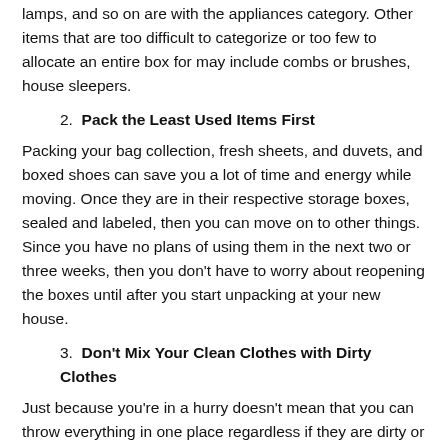lamps, and so on are with the appliances category. Other items that are too difficult to categorize or too few to allocate an entire box for may include combs or brushes, house sleepers.
2. Pack the Least Used Items First
Packing your bag collection, fresh sheets, and duvets, and boxed shoes can save you a lot of time and energy while moving. Once they are in their respective storage boxes, sealed and labeled, then you can move on to other things. Since you have no plans of using them in the next two or three weeks, then you don't have to worry about reopening the boxes until after you start unpacking at your new house.
3. Don't Mix Your Clean Clothes with Dirty Clothes
Just because you're in a hurry doesn't mean that you can throw everything in one place regardless if they are dirty or not. The tightness in your schedule is not a valid excuse to ignore proper hygiene. Keep your dirty clothes, socks, curtains, and sheets in a separate container.
4. Cover Your Mattress and Pillows
During the move, your mattress and pillows can get dirty or